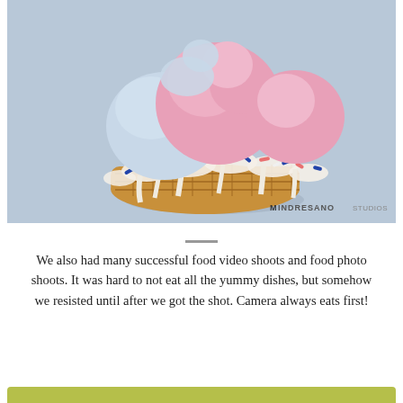[Figure (photo): A colorful ice cream sundae with pink and blue scoops piled high in a waffle cone bowl, topped with whipped cream and red, white, and blue sprinkles, dripping white icing, on a light blue background. Watermark reads MINDRESANO STUDIOS in the lower right corner.]
We also had many successful food video shoots and food photo shoots. It was hard to not eat all the yummy dishes, but somehow we resisted until after we got the shot. Camera always eats first!